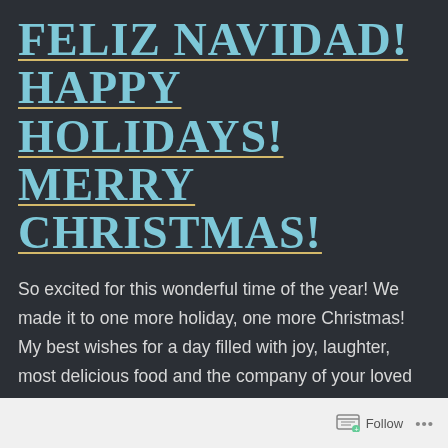FELIZ NAVIDAD! HAPPY HOLIDAYS! MERRY CHRISTMAS!
So excited for this wonderful time of the year! We made it to one more holiday, one more Christmas! My best wishes for a day filled with joy, laughter, most delicious food and the company of your loved ones around you. From my heart to yours. Abrazos. Hugs.
HAPPYCONTESSA  DECEMBER 24, 2020  UNCATEGORIZED  LEAVE A COMMENT
Follow ...